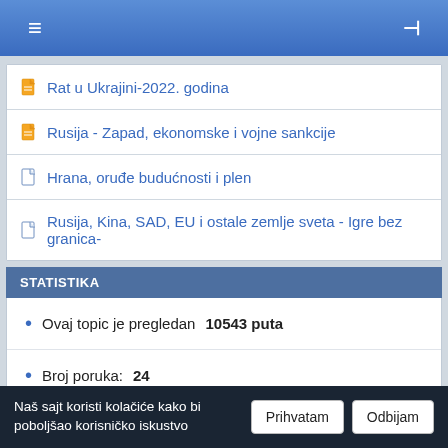≡  ⊣
Rat u Ukrajini-2022. godina
Rusija - Zapad, ekonomske i vojne sankcije
Hrana, oruđe budućnosti i plen
Rusija, Kina, SAD, EU i ostale zemlje sveta - Igre bez granica-
STATISTIKA
Ovaj topic je pregledan 10543 puta
Broj poruka: 24
Naš sajt koristi kolačiće kako bi poboljšao korisničko iskustvo